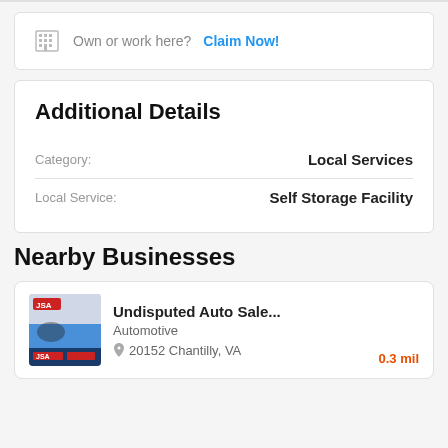Own or work here? Claim Now!
Additional Details
| Field | Value |
| --- | --- |
| Category: | Local Services |
| Local Service: | Self Storage Facility |
Nearby Businesses
Undisputed Auto Sale... Automotive 20152 Chantilly, VA 0.3 mil